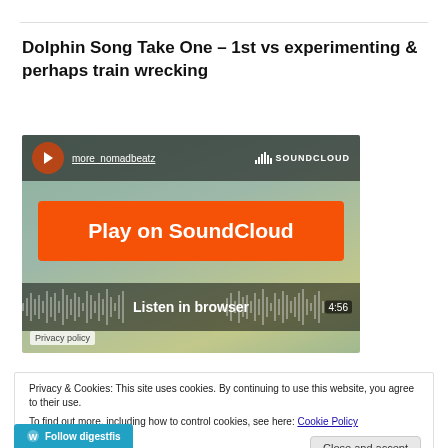Dolphin Song Take One – 1st vs experimenting & perhaps train wrecking
[Figure (screenshot): SoundCloud embedded player showing 'more_nomadbeatz' track with orange Play on SoundCloud button, Listen in browser label, waveform, time 4:56, and Privacy policy link]
Privacy & Cookies: This site uses cookies. By continuing to use this website, you agree to their use.
To find out more, including how to control cookies, see here: Cookie Policy
Close and accept
Follow digestfis